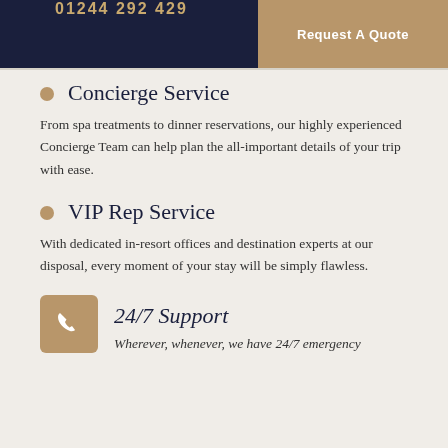01244 292 429 | Request A Quote
Concierge Service — From spa treatments to dinner reservations, our highly experienced Concierge Team can help plan the all-important details of your trip with ease.
VIP Rep Service — With dedicated in-resort offices and destination experts at our disposal, every moment of your stay will be simply flawless.
24/7 Support — Wherever, whenever, we have 24/7 emergency…